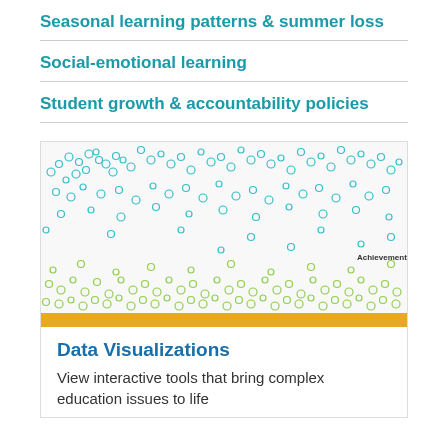Seasonal learning patterns & summer loss
Social-emotional learning
Student growth & accountability policies
[Figure (continuous-plot): Scatter plot visualization showing two bands of circles — teal/cyan circles in upper band and green/lime circles in lower band — representing student achievement data. A label 'Achievement' appears at the right side. A gold/yellow horizontal bar separates the image from the card body below.]
Data Visualizations
View interactive tools that bring complex education issues to life